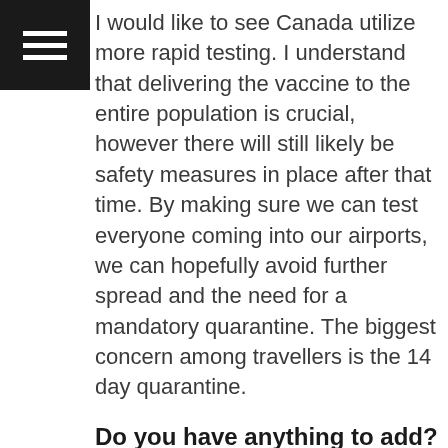I would like to see Canada utilize more rapid testing. I understand that delivering the vaccine to the entire population is crucial, however there will still likely be safety measures in place after that time. By making sure we can test everyone coming into our airports, we can hopefully avoid further spread and the need for a mandatory quarantine. The biggest concern among travellers is the 14 day quarantine.
Do you have anything to add?
I have no doubt that when travel is able to resume safely that it will be on the top of Canadian's to-do lists. When it's time, this industry will